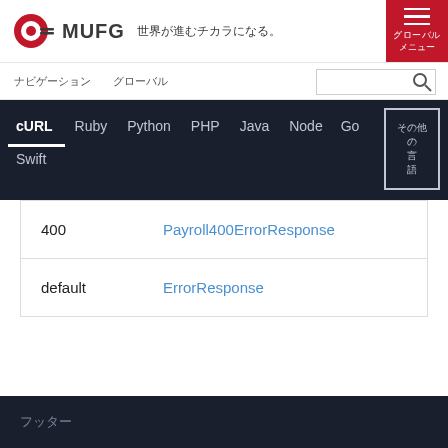MUFG 世界が進むチカラになる。
ナビゲーション　　グローバル
[Figure (screenshot): Code language tabs bar showing: cURL (active), Ruby, Python, PHP, Java, Node, Go, Swift, and a boxed button with Japanese characters]
|  |  |
| --- | --- |
| 400 | Payroll400ErrorResponse |
| default | ErrorResponse |
フッター